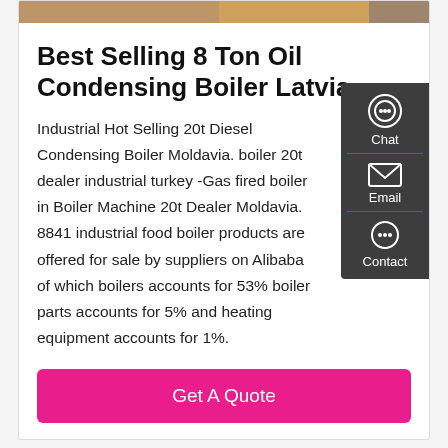[Figure (photo): Product image strip at top of card showing industrial boiler equipment]
Best Selling 8 Ton Oil Condensing Boiler Latvia
Industrial Hot Selling 20t Diesel Condensing Boiler Moldavia. boiler 20t dealer industrial turkey -Gas fired boiler in Boiler Machine 20t Dealer Moldavia. 8841 industrial food boiler products are offered for sale by suppliers on Alibaba of which boilers accounts for 53% boiler parts accounts for 5% and heating equipment accounts for 1%.
Get A Quote
Get a Quote
WhatsApp